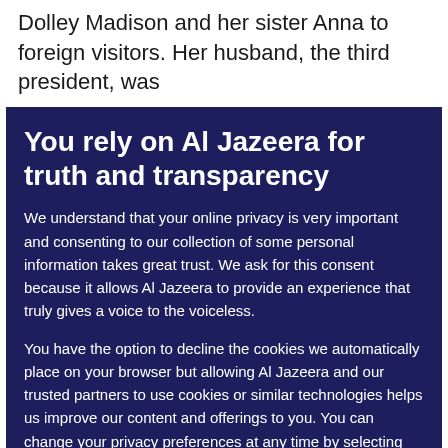Dolley Madison and her sister Anna to foreign visitors. Her husband, the third president, was
You rely on Al Jazeera for truth and transparency
We understand that your online privacy is very important and consenting to our collection of some personal information takes great trust. We ask for this consent because it allows Al Jazeera to provide an experience that truly gives a voice to the voiceless.

You have the option to decline the cookies we automatically place on your browser but allowing Al Jazeera and our trusted partners to use cookies or similar technologies helps us improve our content and offerings to you. You can change your privacy preferences at any time by selecting 'Cookie preferences' at the bottom of your screen. To learn more, please view our Cookie Policy.